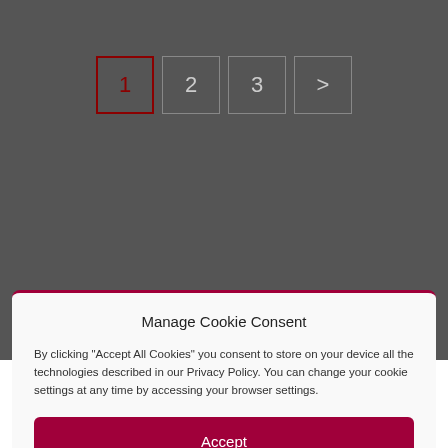[Figure (screenshot): Pagination control showing page buttons 1 (active, dark red border), 2, 3, and a '>' next arrow on a dark gray background.]
ABOUT  INDEPENDENCE & ETHICS  PARTNERSHIPS & FUNDERS  PRIVACY POLICY  COMPLAINTS POLICY  CONTACT
Manage Cookie Consent
By clicking "Accept All Cookies" you consent to store on your device all the technologies described in our Privacy Policy. You can change your cookie settings at any time by accessing your browser settings.
Accept